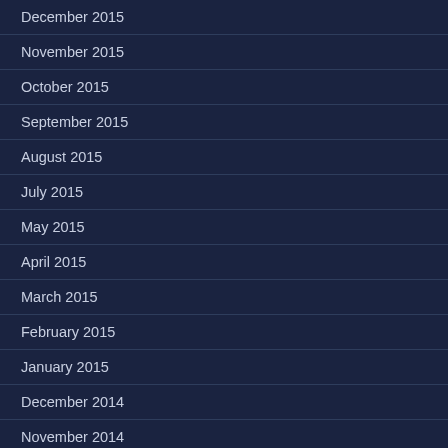December 2015
November 2015
October 2015
September 2015
August 2015
July 2015
May 2015
April 2015
March 2015
February 2015
January 2015
December 2014
November 2014
October 2014
September 2014